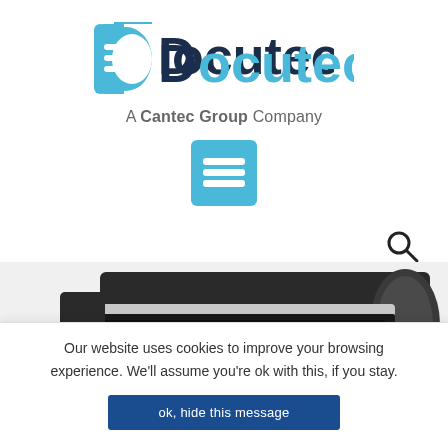[Figure (logo): Docutec logo — curly brace icon in blue with horizontal lines, text 'Docutec' in dark navy and sky blue]
A Cantec Group Company
[Figure (other): Blue square hamburger/menu icon with three horizontal white lines]
[Figure (other): Magnifying glass search icon]
[Figure (photo): Canon large-format plotter/printer, silver and black, viewed from slight angle above]
Our website uses cookies to improve your browsing experience. We'll assume you're ok with this, if you stay.
ok, hide this message